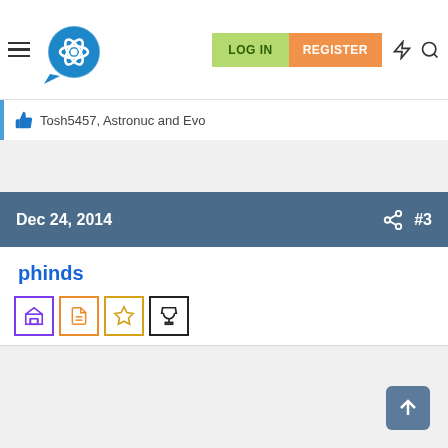[Figure (screenshot): Navigation bar with hamburger menu, atom/brain logo, LOG IN button (green), REGISTER button (orange), lightning bolt icon, and search icon]
Tosh5457, Astronuc and Evo
Dec 24, 2014  #3
phinds
[Figure (illustration): Four badge icons: purple building/columns badge, orange document badge, gold star badge, black trophy badge]